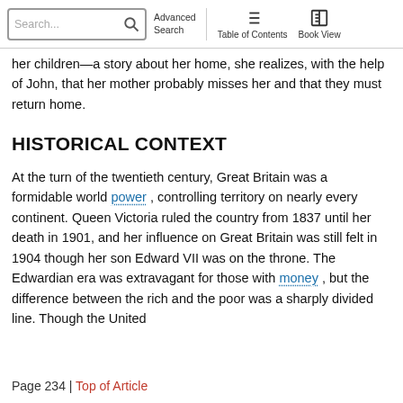Search... | Advanced Search | Table of Contents | Book View
her children—a story about her home, she realizes, with the help of John, that her mother probably misses her and that they must return home.
HISTORICAL CONTEXT
At the turn of the twentieth century, Great Britain was a formidable world power, controlling territory on nearly every continent. Queen Victoria ruled the country from 1837 until her death in 1901, and her influence on Great Britain was still felt in 1904 though her son Edward VII was on the throne. The Edwardian era was extravagant for those with money, but the difference between the rich and the poor was a sharply divided line. Though the United
Page 234 | Top of Article